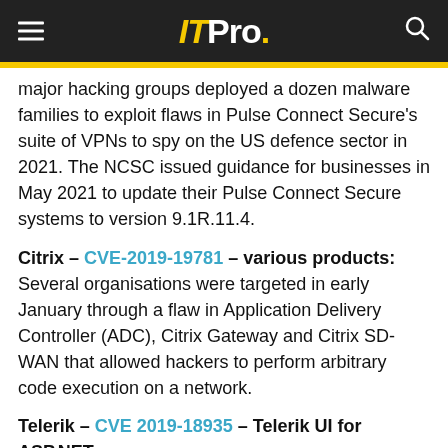ITPro.
major hacking groups deployed a dozen malware families to exploit flaws in Pulse Connect Secure's suite of VPNs to spy on the US defence sector in 2021. The NCSC issued guidance for businesses in May 2021 to update their Pulse Connect Secure systems to version 9.1R.11.4.
Citrix – CVE-2019-19781 – various products: Several organisations were targeted in early January through a flaw in Application Delivery Controller (ADC), Citrix Gateway and Citrix SD-WAN that allowed hackers to perform arbitrary code execution on a network.
Telerik – CVE 2019-18935 – Telerik UI for ASP.NET